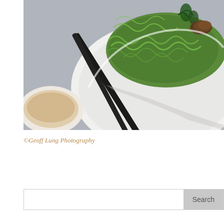[Figure (photo): Food photography showing a white bowl of green noodles (likely matcha or spinach soba) with chopsticks, garnished with herbs and meat, alongside a small white dipping sauce bowl on a gray surface.]
©Geoff Lung Photography